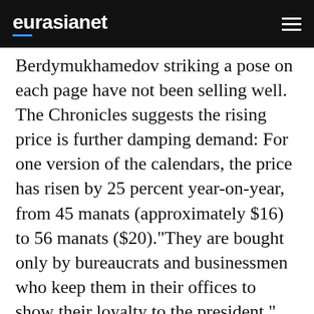eurasianet
Berdymukhamedov striking a pose on each page have not been selling well. The Chronicles suggests the rising price is further damping demand: For one version of the calendars, the price has risen by 25 percent year-on-year, from 45 manats (approximately $16) to 56 manats ($20)."They are bought only by bureaucrats and businessmen who keep them in their offices to show their loyalty to the president," the Chronicles of Turkmenistan, a website run by exiles in Vienna, explained.Despite losses, the state-run publisher is still printing desk and wall calendars – along with other mementos